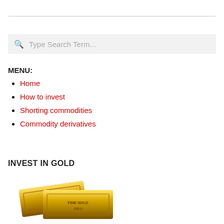Type Search Term...
MENU:
Home
How to invest
Shorting commodities
Commodity derivatives
INVEST IN GOLD
[Figure (photo): Stack of gold bars/bullion with text 'FINE GOLD 999.9' engraved on them]